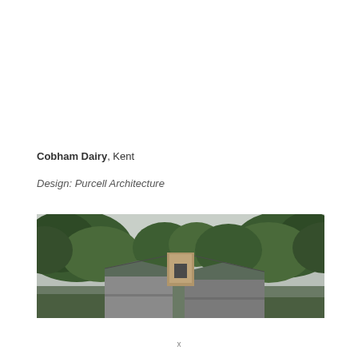Cobham Dairy, Kent
Design: Purcell Architecture
[Figure (photo): Exterior photograph of Cobham Dairy in Kent showing a stone building with an arched window/doorway feature on the roof ridge, surrounded by dense green trees against an overcast sky. The building has a grey/slate roof. The photo is a wide panoramic crop.]
x